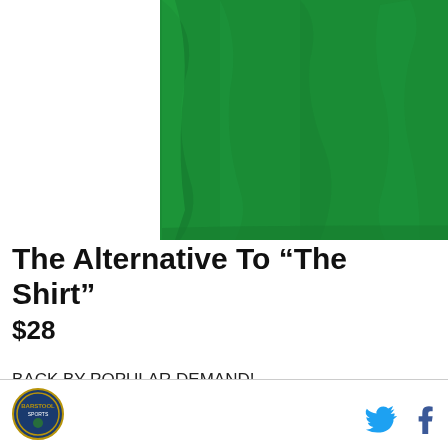[Figure (photo): Green t-shirt fabric close-up showing folds and texture, cropped to show lower portion of shirt on white background]
The Alternative To “The Shirt”
$28
BACK BY POPULAR DEMAND!
The shirt for all your victory-clogging needs.
Blue, gold and white print on a super-comfortable heather green tee.
Logo and social media icons (Twitter, Facebook)